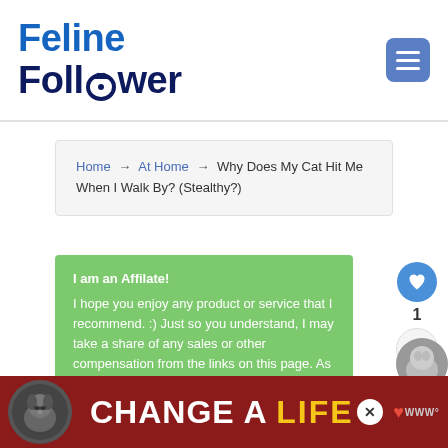Feline Follower
Home → At Home → Why Does My Cat Hit Me When I Walk By? (Stealthy?)
I am an Affilate! I hope you enjoy any product or service that I recommend. :) Just so you understand, I may take a share of any sales or other compensation from the links on this page. As an Amazon Associate I earn from qualifying purchases. Thanks if you use my links, I really appreciate your support.
[Figure (infographic): Ad banner: CHANGE A LIFE with dog photo and heart icon]